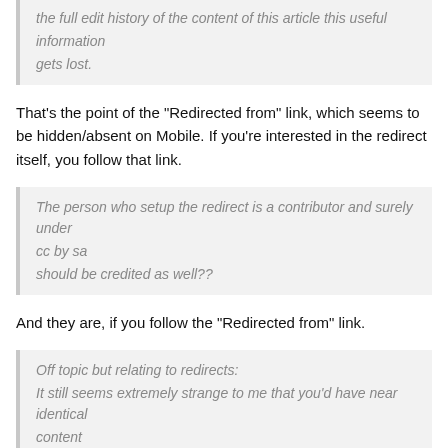the full edit history of the content of this article this useful information gets lost.
That's the point of the "Redirected from" link, which seems to be hidden/absent on Mobile. If you're interested in the redirect itself, you follow that link.
The person who setup the redirect is a contributor and surely under cc by sa should be credited as well??
And they are, if you follow the "Redirected from" link.
Off topic but relating to redirects: It still seems extremely strange to me that you'd have near identical content on 2 different urls. I understand the importance of redirects as I've been confused by this in the past (even the 'redirected from X' link is sometimes